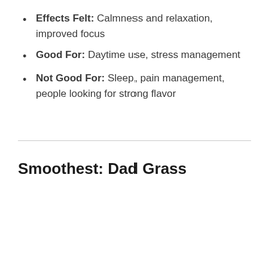Effects Felt: Calmness and relaxation, improved focus
Good For: Daytime use, stress management
Not Good For: Sleep, pain management, people looking for strong flavor
Smoothest: Dad Grass